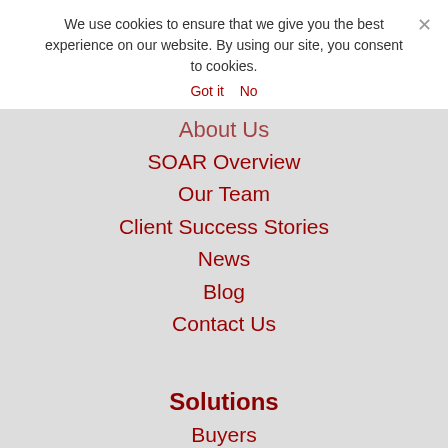We use cookies to ensure that we give you the best experience on our website. By using our site, you consent to cookies.
Got it   No
About Us
SOAR Overview
Our Team
Client Success Stories
News
Blog
Contact Us
Solutions
Buyers
Teams
Leaders